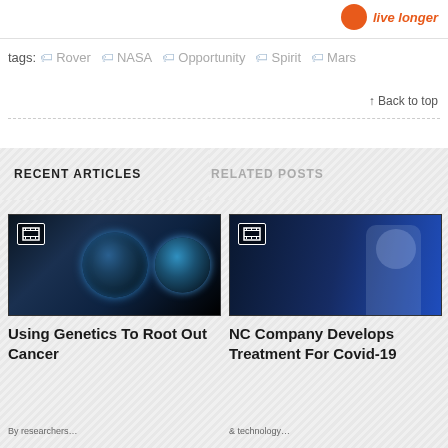[Figure (logo): Orange circle logo with italic text 'live longer']
tags: Rover NASA Opportunity Spirit Mars
↑ Back to top
RECENT ARTICLES
RELATED POSTS
[Figure (photo): MRI brain scan images showing cross-sections with blue-toned lighting, with film icon overlay]
Using Genetics To Root Out Cancer
[Figure (photo): Person in lab coat working at equipment in blue-lit industrial laboratory, with film icon overlay]
NC Company Develops Treatment For Covid-19